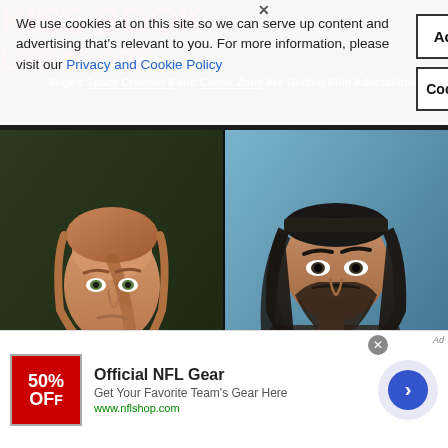We use cookies at on this site so we can serve up content and advertising that's relevant to you. For more information, please visit our Privacy and Cookie Policy
Accept Cookies
Cookie Information
Sega's Space Channel 5 and Comix Zone Are Getting Film Adaptations
[Figure (photo): Split composite image: left side shows a man with long reddish-blonde hair in period costume from Outlander; right side shows a dark-haired bearded man in biker gear from Days Gone video game]
[Figure (photo): Advertisement banner for Official NFL Gear with red logo showing 50% OFF]
Official NFL Gear
Get Your Favorite Team's Gear Here
www.nflshop.com